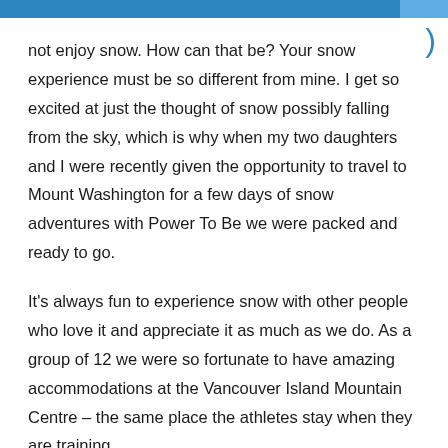not enjoy snow. How can that be? Your snow experience must be so different from mine. I get so excited at just the thought of snow possibly falling from the sky, which is why when my two daughters and I were recently given the opportunity to travel to Mount Washington for a few days of snow adventures with Power To Be we were packed and ready to go.
It's always fun to experience snow with other people who love it and appreciate it as much as we do. As a group of 12 we were so fortunate to have amazing accommodations at the Vancouver Island Mountain Centre – the same place the athletes stay when they are training.